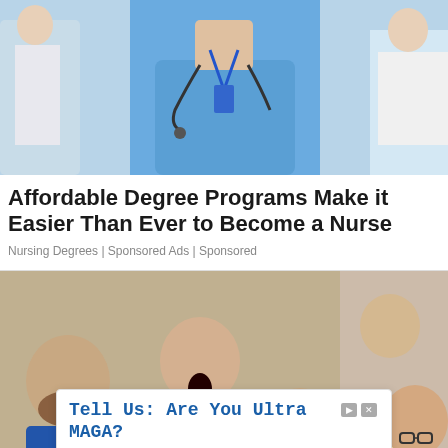[Figure (photo): Close-up photo of a nurse or medical professional wearing blue scrubs and a stethoscope with a blue lanyard, other medical staff visible in background]
Affordable Degree Programs Make it Easier Than Ever to Become a Nurse
Nursing Degrees | Sponsored Ads | Sponsored
[Figure (photo): Group of stressed people — a bearded man, a woman with open mouth in shock, a woman covering her face, a person holding an alarm clock, and a woman with glasses looking down — gathered around someone]
Tell Us: Are You Ultra MAGA?
Show your support for the President by endorsing him today.
Save America JFC
Sign Up